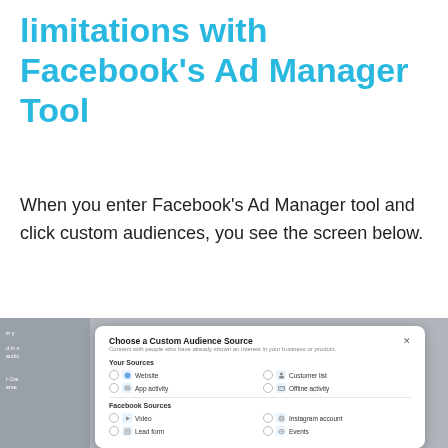limitations with Facebook's Ad Manager Tool
When you enter Facebook's Ad Manager tool and click custom audiences, you see the screen below.
[Figure (screenshot): Facebook Ads Manager 'Choose a Custom Audience Source' dialog showing Your Sources (Website, Customer list, App activity, Offline activity) and Facebook Sources (Video, Instagram account, Lead form, Events) options with radio buttons.]